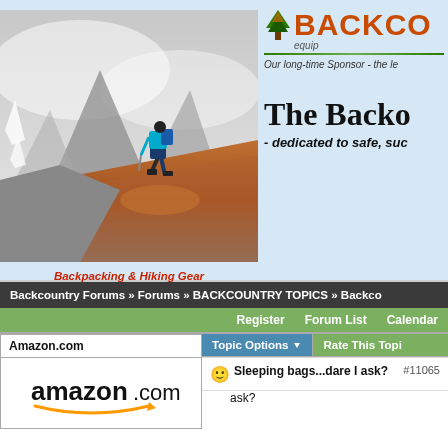[Figure (photo): Hiker with blue backpack climbing a rocky ridge in misty mountains]
Backpacking & Hiking Gear
[Figure (logo): Backcountry equipment logo with tree icon and orange text BACKCO, equip below]
Our long-time Sponsor - the le
The Backo
- dedicated to safe, suc
Backcountry Forums » Forums » BACKCOUNTRY TOPICS » Backco
Register   Forum List   Calendar
Amazon.com
[Figure (logo): Amazon.com logo in black with orange smile arrow]
Topic Options
Rate This Topi
Sleeping bags...dare I ask?   #11065